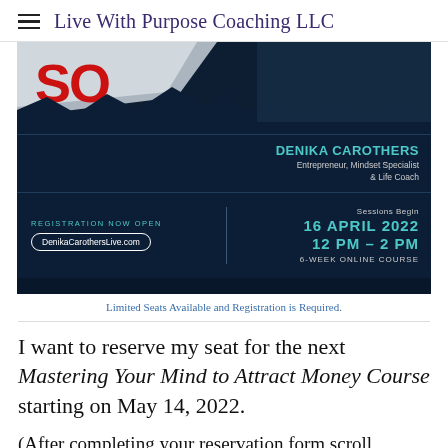Live With Purpose Coaching LLC
[Figure (infographic): Promotional banner for Denika Carothers course. Dark navy background with torn paper effect at top showing red 'SO' text, Denika Carothers name in teal, Entrepreneur Mindset Specialist & Life Coach. Registration Now Open, DenikaCarothersLive.com, Sessions Begin 16 April 2022 12 PM - 2 PM, 6-Week Online Course.]
Limited Seats Available and Registration is Required.
I want to reserve my seat for the next Mastering Your Mind to Attract Money Course starting on May 14, 2022.
(After completing your reservation form scroll